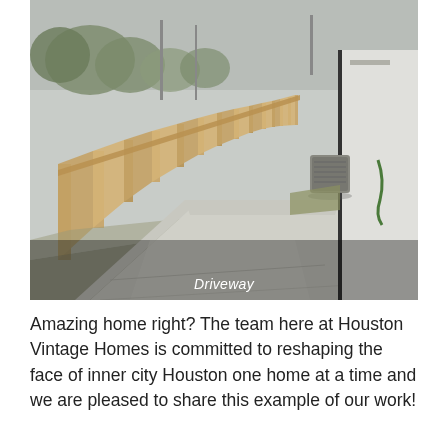[Figure (photo): Outdoor photograph of a concrete driveway running alongside a wood privacy fence on the left and a white modern house building wall on the right. An HVAC unit is visible mid-distance. Trees and utility poles are visible in the background under an overcast sky. A caption 'Driveway' appears in italic white text overlaid on the lower center of the image.]
Driveway
Amazing home right? The team here at Houston Vintage Homes is committed to reshaping the face of inner city Houston one home at a time and we are pleased to share this example of our work!